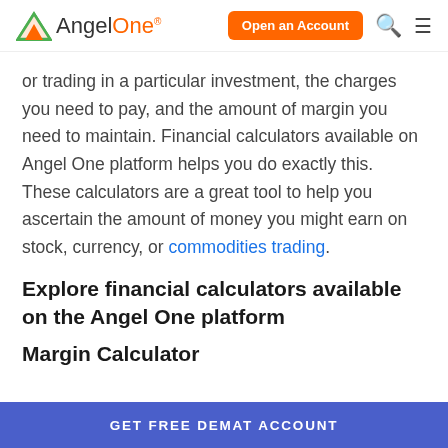AngelOne — Open an Account
or trading in a particular investment, the charges you need to pay, and the amount of margin you need to maintain. Financial calculators available on Angel One platform helps you do exactly this. These calculators are a great tool to help you ascertain the amount of money you might earn on stock, currency, or commodities trading.
Explore financial calculators available on the Angel One platform
Margin Calculator
GET FREE DEMAT ACCOUNT